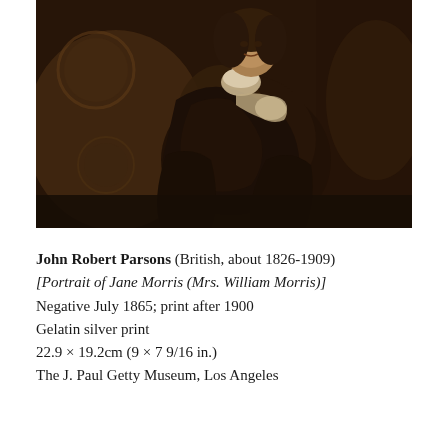[Figure (photo): Sepia-toned photograph of Jane Morris (Mrs. William Morris) seated in a wicker chair, wearing a dark Victorian dress with white lace at the collar, photographed by John Robert Parsons in July 1865.]
John Robert Parsons (British, about 1826-1909)
[Portrait of Jane Morris (Mrs. William Morris)]
Negative July 1865; print after 1900
Gelatin silver print
22.9 × 19.2cm (9 × 7 9/16 in.)
The J. Paul Getty Museum, Los Angeles